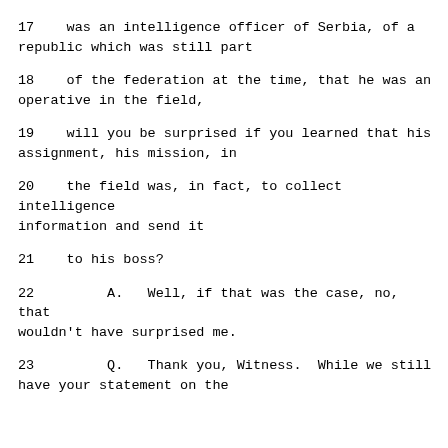17     was an intelligence officer of Serbia, of a republic which was still part
18     of the federation at the time, that he was an operative in the field,
19     will you be surprised if you learned that his assignment, his mission, in
20     the field was, in fact, to collect intelligence information and send it
21     to his boss?
22          A.   Well, if that was the case, no, that wouldn't have surprised me.
23          Q.   Thank you, Witness.  While we still have your statement on the